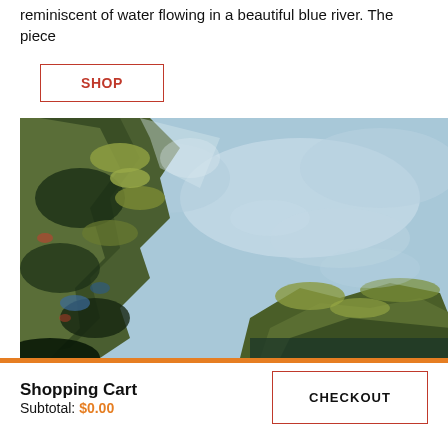reminiscent of water flowing in a beautiful blue river. The piece
SHOP
[Figure (illustration): Impressionist landscape painting showing trees with dark green and olive foliage on the left side against a light blue sky background, with additional greenery along the bottom right.]
Shopping Cart
Subtotal: $0.00
CHECKOUT